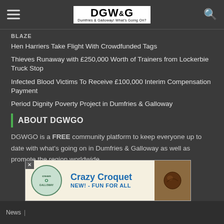Dumfries & Galloway What's Going On - DGWGO
BLAZE
Hen Harriers Take Flight With Crowdfunded Tags
Thieves Runaway with £250,000 Worth of Trainers from Lockerbie Truck Stop
Infected Blood Victims To Receive £100,000 Interim Compensation Payment
Period Dignity Poverty Project in Dumfries & Galloway
ABOUT DGWGO
DGWGO is a FREE community platform to keep everyone up to date with what's going on in Dumfries & Galloway as well as promote the region worldwide.
News |
[Figure (screenshot): Advertisement banner for Crazy Croquet - NEW! FUN FOR ALL, featuring Cream O Galloway branding and a croquet ball image]